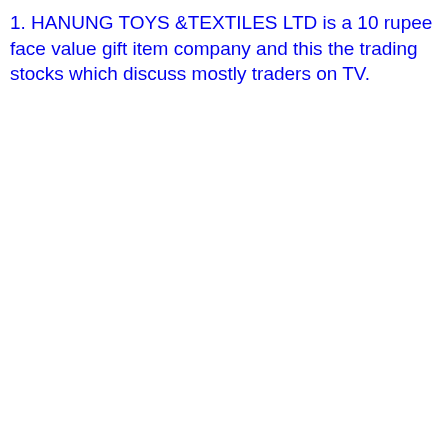1. HANUNG TOYS &TEXTILES LTD is a 10 rupee face value gift item company and this the trading stocks which discuss mostly traders on TV.